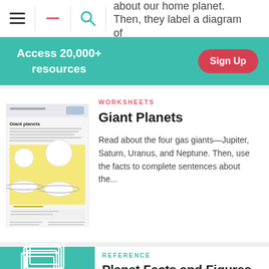about our home planet. Then, they label a diagram of...
Access 20,000+ resources
Sign Up
[Figure (illustration): Thumbnail of Giant Planets worksheet with yellow background showing planet diagrams]
WORKSHEETS
Giant Planets
Read about the four gas giants—Jupiter, Saturn, Uranus, and Neptune. Then, use the facts to complete sentences about the...
[Figure (illustration): Teal background with white outline icons of stacked books/reference materials]
REFERENCE
Planet Facts and Figures